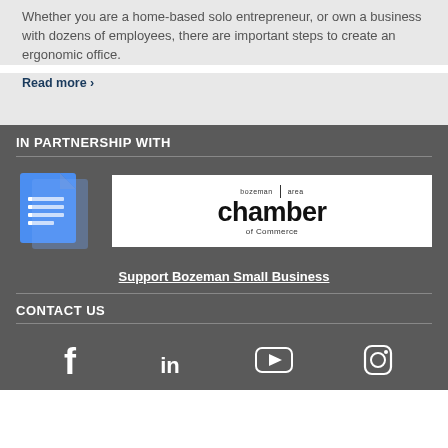Whether you are a home-based solo entrepreneur, or own a business with dozens of employees, there are important steps to create an ergonomic office.
Read more ❯
IN PARTNERSHIP WITH
[Figure (logo): Google Docs style blue document icon with lines]
[Figure (logo): Bozeman area chamber of Commerce logo on white background]
Support Bozeman Small Business
CONTACT US
[Figure (infographic): Social media icons: Facebook, LinkedIn, YouTube, Instagram]